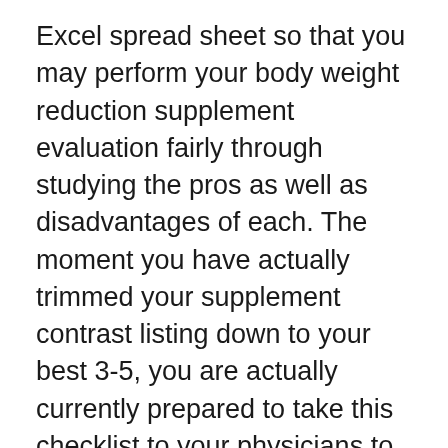Excel spread sheet so that you may perform your body weight reduction supplement evaluation fairly through studying the pros as well as disadvantages of each. The moment you have actually trimmed your supplement contrast listing down to your best 3-5, you are actually currently prepared to take this checklist to your physicians to inspect what he or even she assumes regarding each as well as every body weight reduction supplement that you possess on your checklist. Inspect out a handful of body weight reduction supplement contrast websites on the internet and also start creating your spread sheet – when you have actually made a decision on your standards.
Inform me what is actually additional